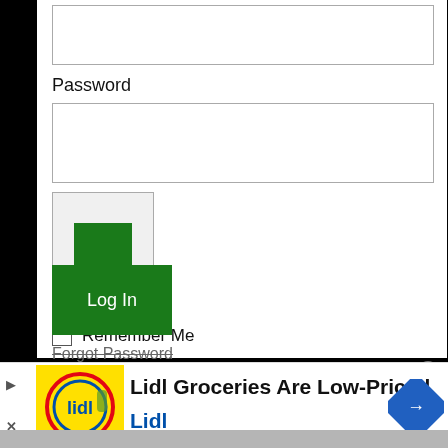[Figure (screenshot): Input field (partially visible at top)]
Password
[Figure (screenshot): Password input text field (empty)]
[Figure (screenshot): CAPTCHA box with green square inside]
Remember Me
[Figure (screenshot): Log In green button]
Forgot Password
[Figure (screenshot): Advertisement banner: Lidl Groceries Are Low-Priced, Lidl]